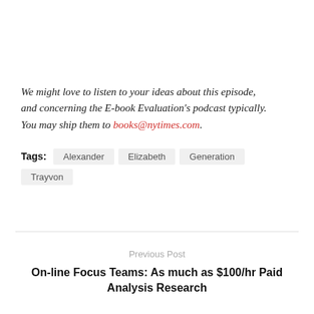We might love to listen to your ideas about this episode, and concerning the E-book Evaluation's podcast typically. You may ship them to books@nytimes.com.
Tags: Alexander Elizabeth Generation Trayvon
Previous Post
On-line Focus Teams: As much as $100/hr Paid Analysis Research
Next Post